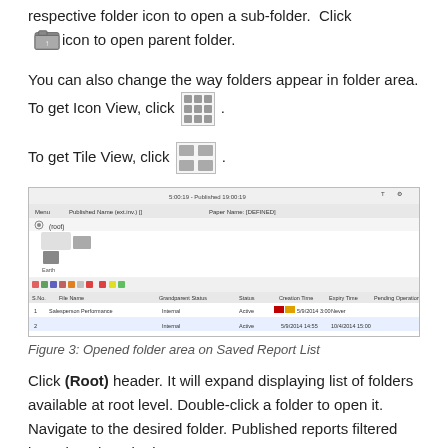respective folder icon to open a sub-folder. Click [icon] icon to open parent folder.
You can also change the way folders appear in folder area. To get Icon View, click [icon].
To get Tile View, click [icon].
[Figure (screenshot): Screenshot of an opened folder area on Saved Report List with toolbar, navigation, file list rows showing file names, statuses, creation times, expiry times, and pending operations.]
Figure 3: Opened folder area on Saved Report List
Click (Root) header. It will expand displaying list of folders available at root level. Double-click a folder to open it. Navigate to the desired folder. Published reports filtered based on the criteria